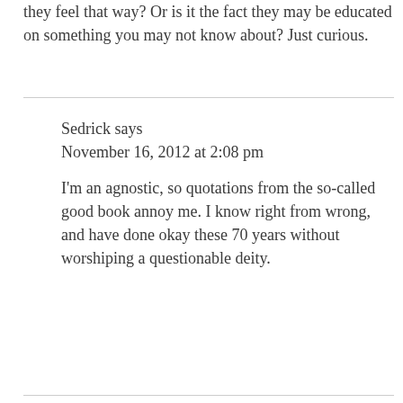they feel that way? Or is it the fact they may be educated on something you may not know about? Just curious.
Sedrick says
November 16, 2012 at 2:08 pm

I'm an agnostic, so quotations from the so-called good book annoy me. I know right from wrong, and have done okay these 70 years without worshiping a questionable deity.